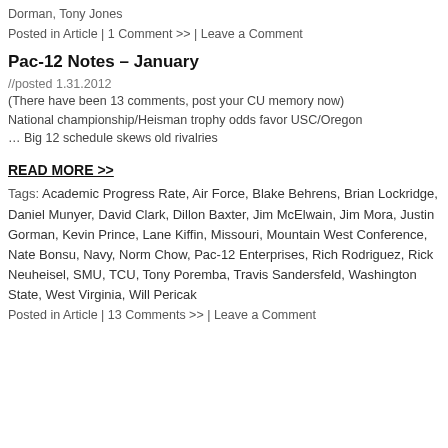Dorman, Tony Jones
Posted in Article | 1 Comment >> | Leave a Comment
Pac-12 Notes – January
//posted 1.31.2012
(There have been 13 comments, post your CU memory now)
National championship/Heisman trophy odds favor USC/Oregon … Big 12 schedule skews old rivalries
READ MORE >>
Tags: Academic Progress Rate, Air Force, Blake Behrens, Brian Lockridge, Daniel Munyer, David Clark, Dillon Baxter, Jim McElwain, Jim Mora, Justin Gorman, Kevin Prince, Lane Kiffin, Missouri, Mountain West Conference, Nate Bonsu, Navy, Norm Chow, Pac-12 Enterprises, Rich Rodriguez, Rick Neuheisel, SMU, TCU, Tony Poremba, Travis Sandersfeld, Washington State, West Virginia, Will Pericak
Posted in Article | 13 Comments >> | Leave a Comment